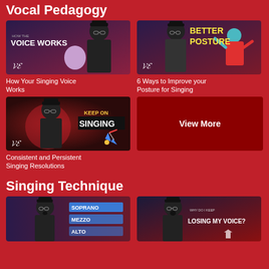Vocal Pedagogy
[Figure (screenshot): Thumbnail: How The Voice Works - man in black hat holding balloon]
How Your Singing Voice Works
[Figure (screenshot): Thumbnail: Better Posture - man in black hat next to illustrated figure]
6 Ways to Improve your Posture for Singing
[Figure (screenshot): Thumbnail: Keep On Singing - man in black hat with fireworks]
Consistent and Persistent Singing Resolutions
[Figure (screenshot): View More button box - dark red background]
Singing Technique
[Figure (screenshot): Thumbnail: Soprano Mezzo Alto voice types with man in black hat]
[Figure (screenshot): Thumbnail: Why Do I Keep Losing My Voice? with man in black hat]